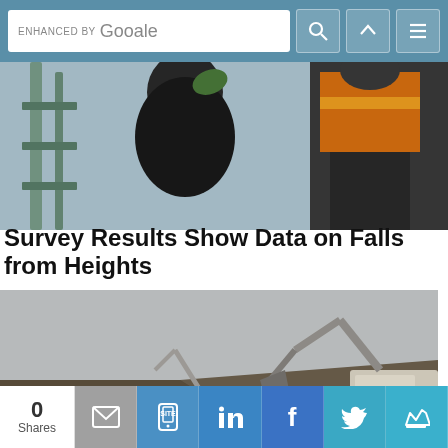ENHANCED BY Google [search bar with icons]
[Figure (photo): Close-up of workers on scaffolding, one wearing an orange high-visibility vest, another in dark clothing, metal railing visible]
Survey Results Show Data on Falls from Heights
[Figure (photo): Open-pit mining scene with large yellow dump trucks and excavators moving coal or earth in a quarry]
0 Shares — social sharing buttons: email, site, LinkedIn, Facebook, Twitter, crown